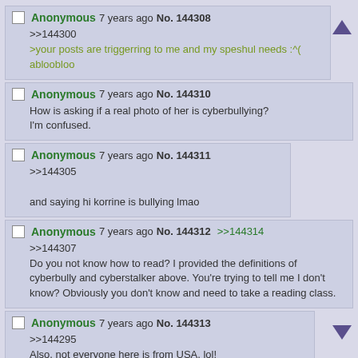Anonymous 7 years ago No. 144308
>>144300
>your posts are triggerring to me and my speshul needs :^(
abloobloo
Anonymous 7 years ago No. 144310
How is asking if a real photo of her is cyberbullying?
I'm confused.
Anonymous 7 years ago No. 144311
>>144305
and saying hi korrine is bullying lmao
Anonymous 7 years ago No. 144312 >>144314
>>144307
Do you not know how to read? I provided the definitions of cyberbully and cyberstalker above. You're trying to tell me I don't know? Obviously you don't know and need to take a reading class.
Anonymous 7 years ago No. 144313
>>144295
Also, not everyone here is from USA, lol!